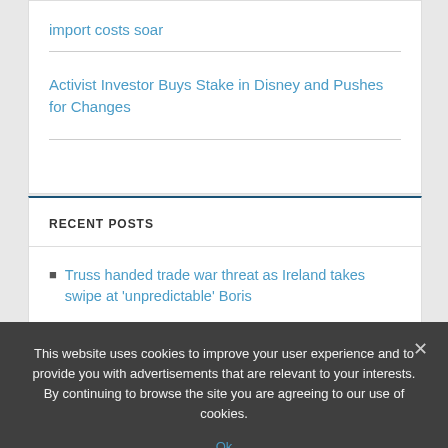import costs soar
Activist Investor Buys Stake in Disney and Pushes for Changes
RECENT POSTS
Truss handed trade war threat as Ireland takes swipe at 'unpredictable' Boris
This website uses cookies to improve your user experience and to provide you with advertisements that are relevant to your interests. By continuing to browse the site you are agreeing to our use of cookies.
Ok